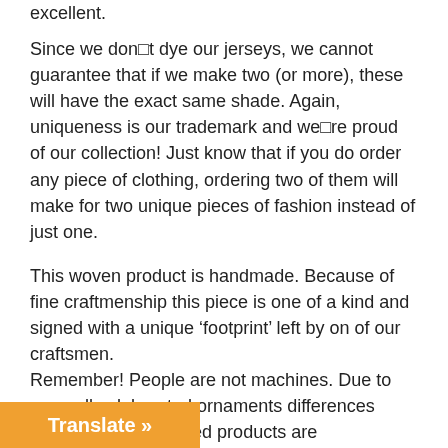excellent.
Since we don□t dye our jerseys, we cannot guarantee that if we make two (or more), these will have the exact same shade. Again, uniqueness is our trademark and we□re proud of our collection! Just know that if you do order any piece of clothing, ordering two of them will make for two unique pieces of fashion instead of just one.
This woven product is handmade. Because of fine craftmenship this piece is one of a kind and signed with a unique ‘footprint’ left by on of our craftsmen.
Remember! People are not machines. Due to manually elaborated ornaments differences between all our crafted products are unavoidable.
Please check all our weavin crafts collections under the extra product info. tab.
This is a handmade product. Wash with care! To extend the product durability use the information given under the ‘extra info.’ tab.
Please keep in mind this product has a size-tolerance of max.